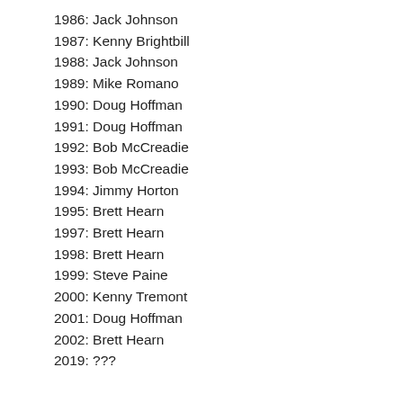1986: Jack Johnson
1987: Kenny Brightbill
1988: Jack Johnson
1989: Mike Romano
1990: Doug Hoffman
1991: Doug Hoffman
1992: Bob McCreadie
1993: Bob McCreadie
1994: Jimmy Horton
1995: Brett Hearn
1997: Brett Hearn
1998: Brett Hearn
1999: Steve Paine
2000: Kenny Tremont
2001: Doug Hoffman
2002: Brett Hearn
2019: ???